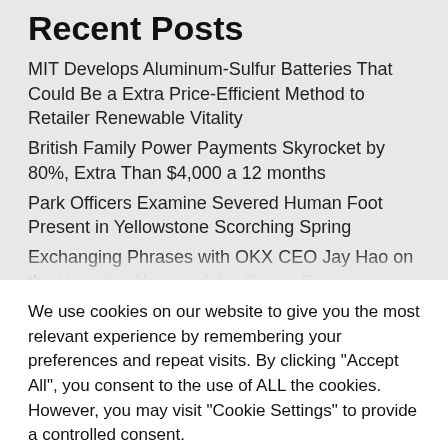Recent Posts
MIT Develops Aluminum-Sulfur Batteries That Could Be a Extra Price-Efficient Method to Retailer Renewable Vitality
British Family Power Payments Skyrocket by 80%, Extra Than $4,000 a 12 months
Park Officers Examine Severed Human Foot Present in Yellowstone Scorching Spring
Exchanging Phrases with OKX CEO Jay Hao on the Unstable Nature of the Crypto Business
We use cookies on our website to give you the most relevant experience by remembering your preferences and repeat visits. By clicking "Accept All", you consent to the use of ALL the cookies. However, you may visit "Cookie Settings" to provide a controlled consent.